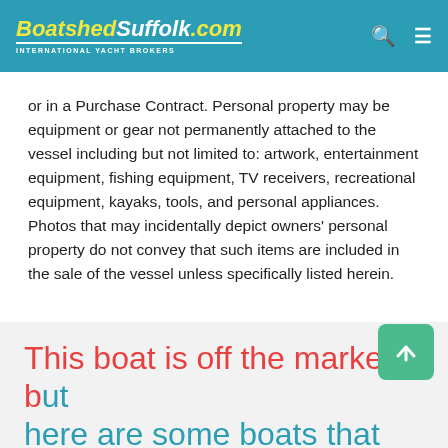BoatshedSuffolk.com — INTERNATIONAL YACHT BROKERS
or in a Purchase Contract. Personal property may be equipment or gear not permanently attached to the vessel including but not limited to: artwork, entertainment equipment, fishing equipment, TV receivers, recreational equipment, kayaks, tools, and personal appliances. Photos that may incidentally depict owners' personal property do not convey that such items are included in the sale of the vessel unless specifically listed herein.
This boat is off the market but here are some boats that are still For Sale